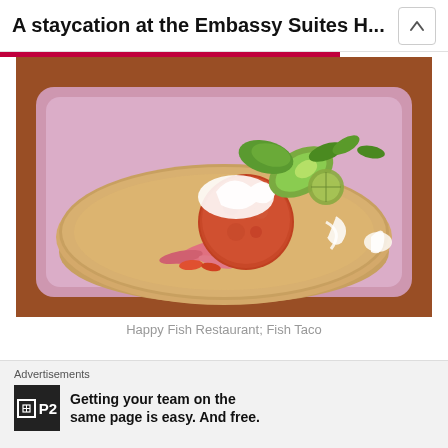A staycation at the Embassy Suites H...
[Figure (photo): Close-up photo of a fish taco on a pink/lavender plate. The taco features a round fried fish ball topped with sour cream, avocado slices, pickled red onions, and fresh herbs on a round tortilla chip/flatbread.]
Happy Fish Restaurant; Fish Taco
The Embassy Suites Hotel offers:
Advertisements
Getting your team on the same page is easy. And free.